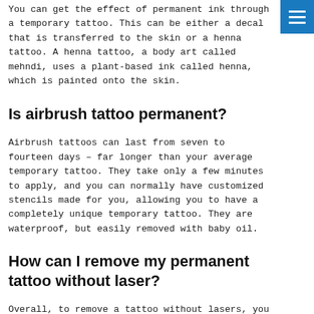You can get the effect of permanent ink through a temporary tattoo. This can be either a decal that is transferred to the skin or a henna tattoo. A henna tattoo, a body art called mehndi, uses a plant-based ink called henna, which is painted onto the skin.
Is airbrush tattoo permanent?
Airbrush tattoos can last from seven to fourteen days – far longer than your average temporary tattoo. They take only a few minutes to apply, and you can normally have customized stencils made for you, allowing you to have a completely unique temporary tattoo. They are waterproof, but easily removed with baby oil.
How can I remove my permanent tattoo without laser?
Overall, to remove a tattoo without lasers, you can head to Tattoo Vanish; they will numb your tattoo